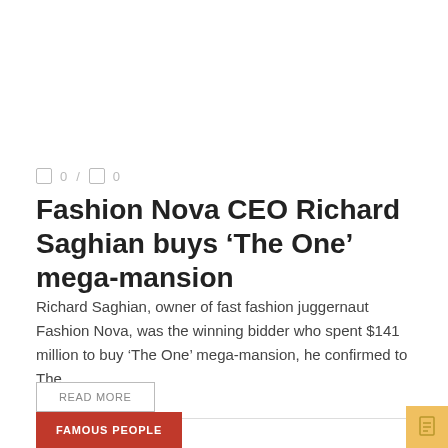0 / 0
Fashion Nova CEO Richard Saghian buys ‘The One’ mega-mansion
Richard Saghian, owner of fast fashion juggernaut Fashion Nova, was the winning bidder who spent $141 million to buy ‘The One’ mega-mansion, he confirmed to The ...
READ MORE
FAMOUS PEOPLE